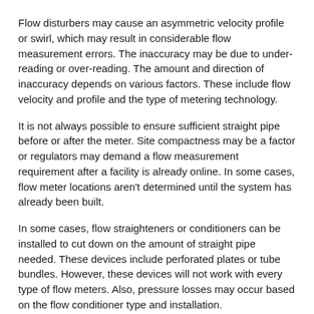Flow disturbers may cause an asymmetric velocity profile or swirl, which may result in considerable flow measurement errors. The inaccuracy may be due to under-reading or over-reading. The amount and direction of inaccuracy depends on various factors. These include flow velocity and profile and the type of metering technology.
It is not always possible to ensure sufficient straight pipe before or after the meter. Site compactness may be a factor or regulators may demand a flow measurement requirement after a facility is already online. In some cases, flow meter locations aren't determined until the system has already been built.
In some cases, flow straighteners or conditioners can be installed to cut down on the amount of straight pipe needed. These devices include perforated plates or tube bundles. However, these devices will not work with every type of flow meters. Also, pressure losses may occur based on the flow conditioner type and installation.
When straight run pipe is not possible, a flow meter like the McCrometer V-Cone® flow meter is designed to "flatten" out the flow profile, resulting in true flow measurement through the meter. The meter can be mounted near a flow disturber and installed between a pair of double elbows while still maintaining accuracy